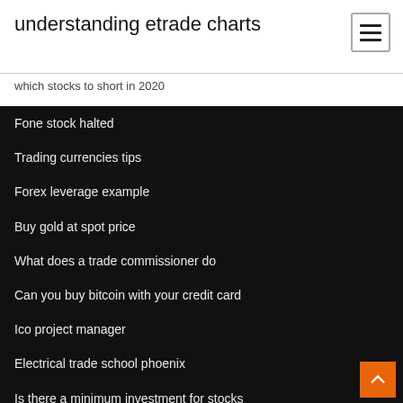understanding etrade charts
which stocks to short in 2020
Fone stock halted
Trading currencies tips
Forex leverage example
Buy gold at spot price
What does a trade commissioner do
Can you buy bitcoin with your credit card
Ico project manager
Electrical trade school phoenix
Is there a minimum investment for stocks
Hot cheap stocks to buy today